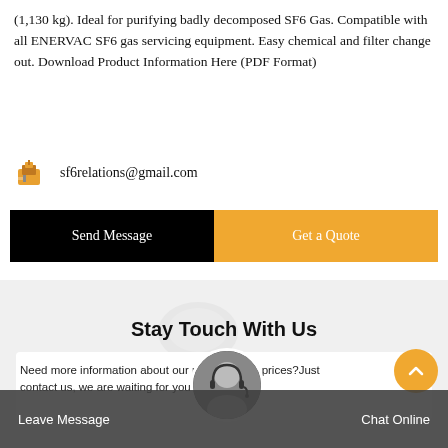(1,130 kg). Ideal for purifying badly decomposed SF6 Gas. Compatible with all ENERVAC SF6 gas servicing equipment. Easy chemical and filter change out. Download Product Information Here (PDF Format)
sf6relations@gmail.com
Send Message
Get a Quote
Stay Touch With Us
Need more information about our products and prices?Just contact us, we are waiting for you.
Leave Message
Chat Online